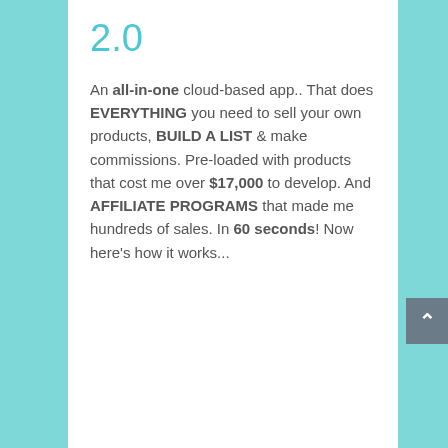2.0
An all-in-one cloud-based app.. That does EVERYTHING you need to sell your own products, BUILD A LIST & make commissions. Pre-loaded with products that cost me over $17,000 to develop. And AFFILIATE PROGRAMS that made me hundreds of sales. In 60 seconds! Now here's how it works...